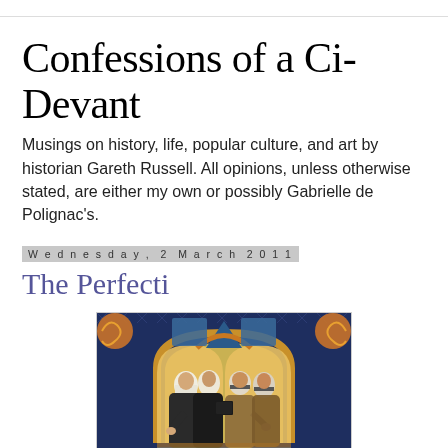Confessions of a Ci-Devant
Musings on history, life, popular culture, and art by historian Gareth Russell. All opinions, unless otherwise stated, are either my own or possibly Gabrielle de Polignac's.
Wednesday, 2 March 2011
The Perfecti
[Figure (illustration): Medieval manuscript illumination showing robed figures under ornate golden arches with decorative blue and gold background patterns]